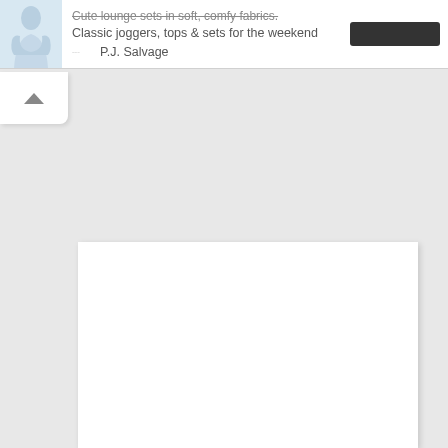[Figure (screenshot): Product listing row showing a lounge wear item with a small thumbnail image on the left, text description in the middle, and a dark Shop button on the right. Below the text is a brand logo and 'P.J. Salvage' brand name.]
Cute lounge sets in soft, comfy fabrics. Classic joggers, tops & sets for the weekend
P.J. Salvage
[Figure (screenshot): A white rectangular panel on a light grey background, representing a content loading area or blank page section.]